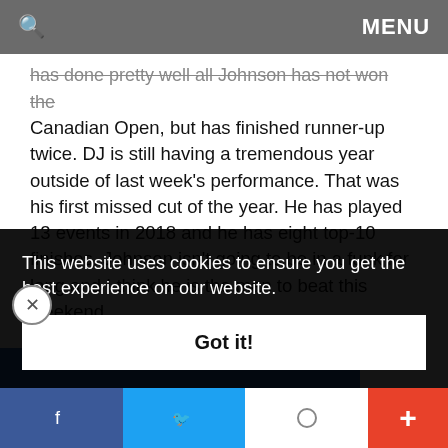🔍   MENU
has done pretty well all Johnson has not won the Canadian Open, but has finished runner-up twice. DJ is still having a tremendous year outside of last week's performance. That was his first missed cut of the year. He has played 13 events in 2018 and he has eight top-10 finishes. Johnson isn't going to be in a funk for long and I think he is the man to beat this weekend.
Charley Hoffman 22/1
Hoffman hasn't won an event since 2016, but I think he can break through this weekend. The 2018 season hasn't … any … nd … ts. … ighter,
This website uses cookies to ensure you get the best experience on our website.
Got it!